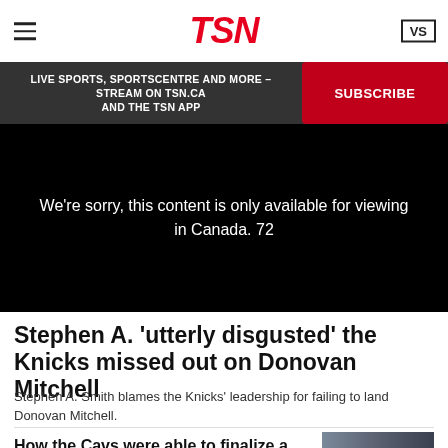TSN
LIVE SPORTS, SPORTSCENTRE AND MORE – STREAM ON TSN.CA AND THE TSN APP  SUBSCRIBE
[Figure (screenshot): Black video player with message: We're sorry, this content is only available for viewing in Canada. 72]
Stephen A. 'utterly disgusted' the Knicks missed out on Donovan Mitchell
Stephen A. Smith blames the Knicks' leadership for failing to land Donovan Mitchell.
How the Cavs were able to finalize a Donovan Mitchell deal
[Figure (photo): Thumbnail image showing two people, one in a suit and one in a blue shirt, with a play button overlay]